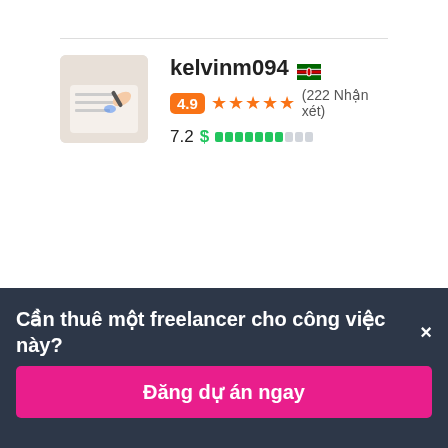[Figure (photo): Profile thumbnail of kelvinm094 showing a hand writing on paper]
kelvinm094 🇰🇪
4.9 ★★★★★ (222 Nhận xét)
7.2 $ ▓▓▓▓▓▓▓░░░
[Figure (photo): Profile photo of PhDWriter12 showing a person in red clothing]
PhDWriter12 🇵🇰
$30 USD trong 2 ngày
Cần thuê một freelancer cho công việc này?×
Đăng dự án ngay